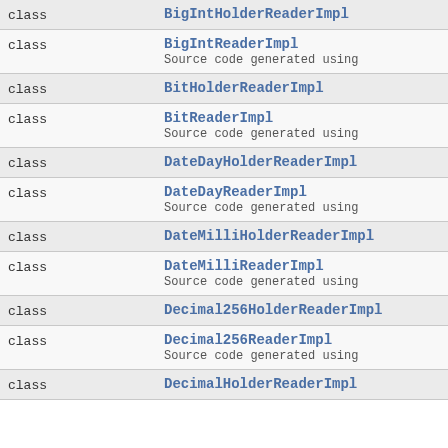| Type | Name |
| --- | --- |
| class | BigIntHolderReaderImpl |
| class | BigIntReaderImpl
Source code generated using |
| class | BitHolderReaderImpl |
| class | BitReaderImpl
Source code generated using |
| class | DateDayHolderReaderImpl |
| class | DateDayReaderImpl
Source code generated using |
| class | DateMilliHolderReaderImpl |
| class | DateMilliReaderImpl
Source code generated using |
| class | Decimal256HolderReaderImpl |
| class | Decimal256ReaderImpl
Source code generated using |
| class | DecimalHolderReaderImpl |